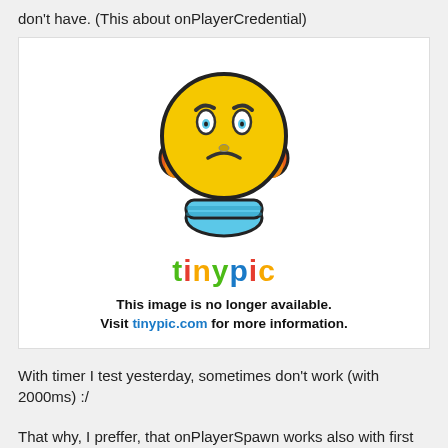don't have. (This about onPlayerCredential)
[Figure (illustration): Tinypic placeholder image showing a frustrated yellow emoji character with hands on head, orange accessories, and blue body, with the Tinypic logo below. Text reads: 'This image is no longer available. Visit tinypic.com for more information.']
With timer I test yesterday, sometimes don't work (with 2000ms) :/
That why, I preffer, that onPlayerSpawn works also with first